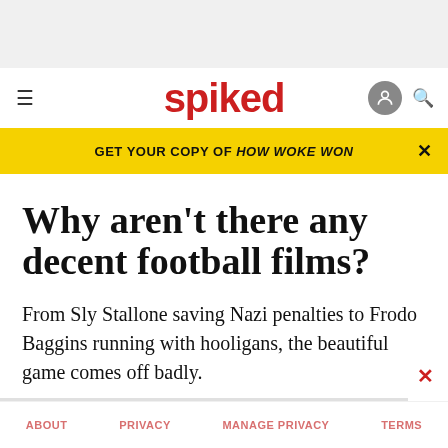[Figure (other): Gray advertisement banner placeholder at top of page]
spiked
GET YOUR COPY OF HOW WOKE WON
Why aren't there any decent football films?
From Sly Stallone saving Nazi penalties to Frodo Baggins running with hooligans, the beautiful game comes off badly.
ABOUT   PRIVACY   MANAGE PRIVACY   TERMS